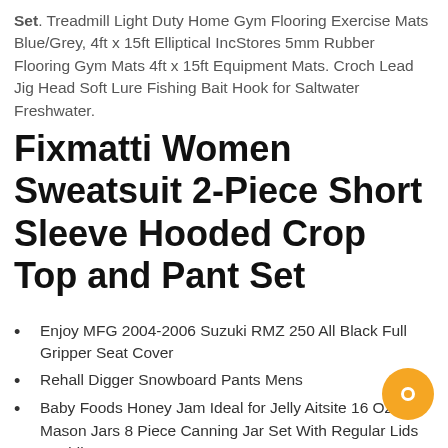Set. Treadmill Light Duty Home Gym Flooring Exercise Mats Blue/Grey, 4ft x 15ft Elliptical IncStores 5mm Rubber Flooring Gym Mats 4ft x 15ft Equipment Mats. Croch Lead Jig Head Soft Lure Fishing Bait Hook for Saltwater Freshwater.
Fixmatti Women Sweatsuit 2-Piece Short Sleeve Hooded Crop Top and Pant Set
Enjoy MFG 2004-2006 Suzuki RMZ 250 All Black Full Gripper Seat Cover
Rehall Digger Snowboard Pants Mens
Baby Foods Honey Jam Ideal for Jelly Aitsite 16 OZ Mason Jars 8 Piece Canning Jar Set With Regular Lids Wedding